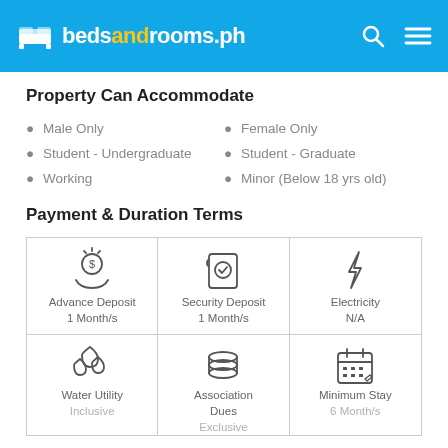bedsandrooms.ph
Property Can Accommodate
Male Only
Female Only
Student - Undergraduate
Student - Graduate
Working
Minor (Below 18 yrs old)
Payment & Duration Terms
[Figure (infographic): Payment terms grid with icons: Advance Deposit 1 Month/s, Security Deposit 1 Month/s, Electricity N/A, Water Utility Inclusive, Association Dues Exclusive, Minimum Stay 6 Month/s]